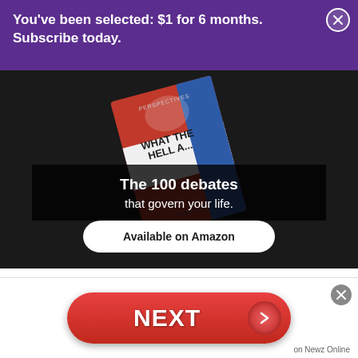You've been selected: $1 for 6 months. Subscribe today.
[Figure (advertisement): Book advertisement showing a book titled 'What The Hell Are...' with text 'The 100 debates that govern your life.' and a button 'Available on Amazon'. Book by Daniel Ravner.]
State Sen. Patrick Connick, R-Marrero, argued that it was only fair to give the
[Figure (advertisement): Bottom ad bar with a red NEXT button and arrow, labeled 'on Newz Online']